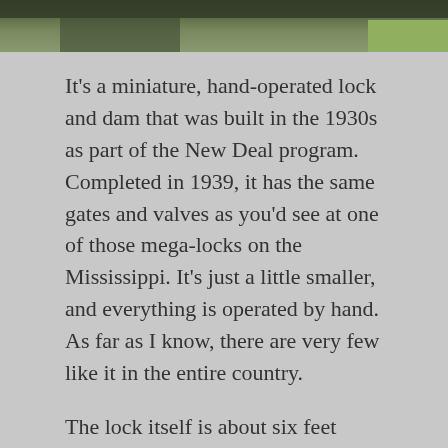[Figure (photo): Partial view of a water scene, possibly a river or lock, with dark water and green vegetation visible at top of page.]
It's a miniature, hand-operated lock and dam that was built in the 1930s as part of the New Deal program. Completed in 1939, it has the same gates and valves as you'd see at one of those mega-locks on the Mississippi. It's just a little smaller, and everything is operated by hand. As far as I know, there are very few like it in the entire country.
The lock itself is about six feet wide and thirty feet long. When it was built, that would have been considered plenty big enough. After all, it could lock through two fourteen-foot fishing boats at the same time. Although impatient canoeists and kayakers sometimes just portage